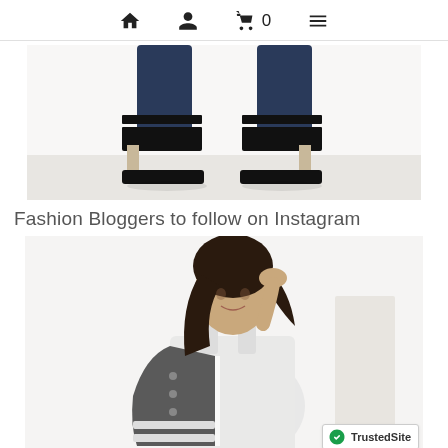Navigation bar with home, profile, cart (0), and menu icons
[Figure (photo): Close-up of a person's legs wearing dark blue jeans and black platform block-heel sandals on a white background]
Fashion Bloggers to follow on Instagram
[Figure (photo): A young woman with long dark hair wearing a light grey sleeveless dress and holding a grey varsity jacket over her shoulder, posing against a white background]
[Figure (logo): TrustedSite badge with checkmark logo in the bottom right corner]